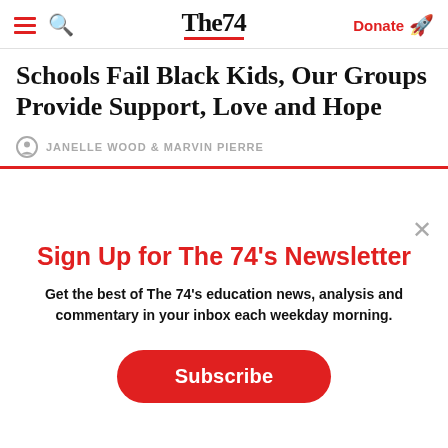The74 — Donate
Schools Fail Black Kids, Our Groups Provide Support, Love and Hope
JANELLE WOOD & MARVIN PIERRE
Sign Up for The 74's Newsletter
Get the best of The 74's education news, analysis and commentary in your inbox each weekday morning.
Subscribe